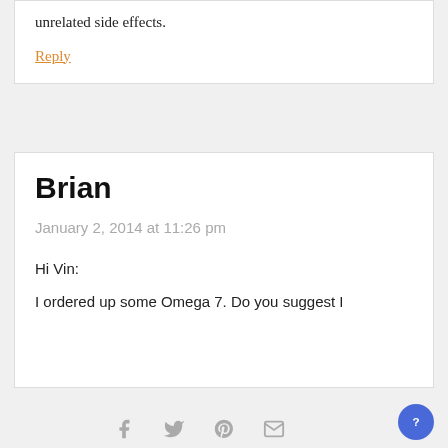unrelated side effects.
Reply
Brian
January 2, 2014 at 11:26 pm
Hi Vin:
I ordered up some Omega 7. Do you suggest I